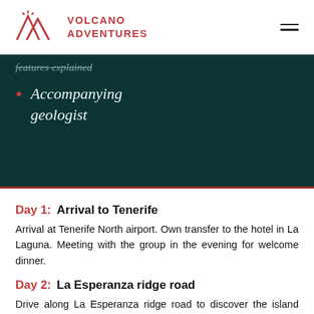Volcano Adventures
features explained (partial, strikethrough)
Accompanying geologist
Day 1: Arrival to Tenerife
Arrival at Tenerife North airport. Own transfer to the hotel in La Laguna. Meeting with the group in the evening for welcome dinner.
Day 2: La Esperanza ridge road
Drive along La Esperanza ridge road to discover the island and its geological features. Stay at Vilaflor.
Day 3: Teide caldera
The visit of the caldera Teide. In the morning we